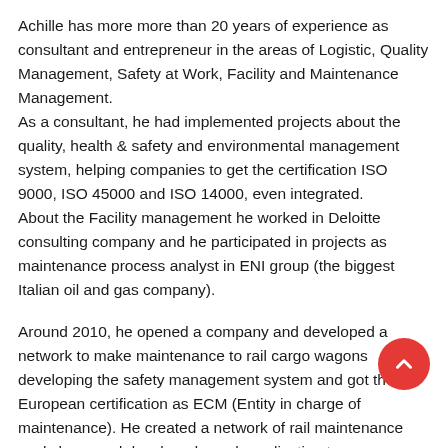Achille has more more than 20 years of experience as consultant and entrepreneur in the areas of Logistic, Quality Management, Safety at Work, Facility and Maintenance Management. As a consultant, he had implemented projects about the quality, health & safety and environmental management system, helping companies to get the certification ISO 9000, ISO 45000 and ISO 14000, even integrated. About the Facility management he worked in Deloitte consulting company and he participated in projects as maintenance process analyst in ENI group (the biggest Italian oil and gas company).
Around 2010, he opened a company and developed a network to make maintenance to rail cargo wagons developing the safety management system and got the European certification as ECM (Entity in charge of maintenance). He created a network of rail maintenance workshops and developed a web application to manage online all the maintenance activities.